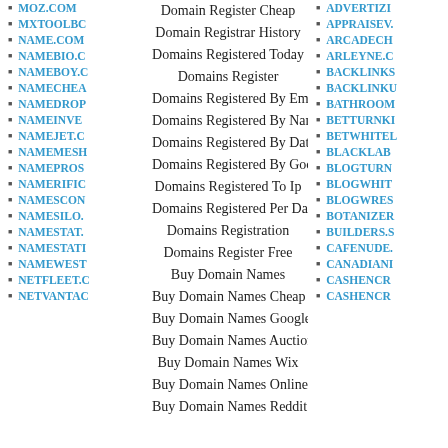MOZ.COM
MXTOOLBO...
NAME.COM
NAMEBIO.C...
NAMEBOY.C...
NAMECHEA...
NAMEDROP...
NAMEINVE...
NAMEJET.C...
NAMEMESH...
NAMEPROS...
NAMERIFIC...
NAMESCON...
NAMESILO....
NAMESTAT....
NAMESTATI...
NAMEWEST...
NETFLEET.C...
NETVANTAG...
Domain Register Cheap
Domain Registrar History
Domains Registered Today
Domains Register
Domains Registered By Email
Domains Registered By Name
Domains Registered By Date
Domains Registered By Google
Domains Registered To Ip
Domains Registered Per Day
Domains Registration
Domains Register Free
Buy Domain Names
Buy Domain Names Cheap
Buy Domain Names Google
Buy Domain Names Auction
Buy Domain Names Wix
Buy Domain Names Online
Buy Domain Names Reddit
ADVERTIZIN...
APPRAISEV....
ARCADECH...
ARLEYNE.C...
BACKLINKS...
BACKLINKU...
BATHROOM...
BETTURNK...
BETWHITEL...
BLACKLAB...
BLOGTURN...
BLOGWHIT...
BLOGWRES...
BOTANIZER...
BUILDERS.S...
CAFENUDE....
CANADIAN...
CASHENCR...
CASHENCR...